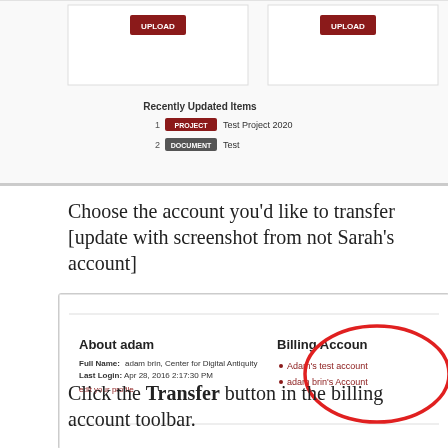[Figure (screenshot): Top portion of a web application UI showing two UPLOAD buttons, a 'Recently Updated Items' section with items '1 PROJECT Test Project 2020' and '2 DOCUMENT Test']
Choose the account you'd like to transfer [update with screenshot from not Sarah's account]
[Figure (screenshot): Screenshot of a user profile page showing 'About adam' section (Full Name: adam brin, Center for Digital Antiquity, Last Login: Apr 28, 2016 2:17:30 PM, edit your profile link) and 'Billing Account' section highlighted with a red oval circle showing 'Adam's test account' and 'adam brin's Account' as bullet points]
Click the Transfer button in the billing account toolbar.